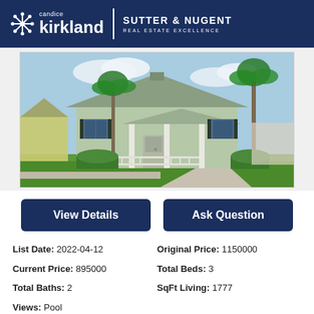candice kirkland | SUTTER & NUGENT REAL ESTATE EXCELLENCE
[Figure (photo): Exterior photo of a light green craftsman-style house with front porch, palm trees, and manicured landscaping on a sunny day.]
View Details
Ask Question
List Date: 2022-04-12
Original Price: 1150000
Current Price: 895000
Total Beds: 3
Total Baths: 2
SqFt Living: 1777
Views: Pool